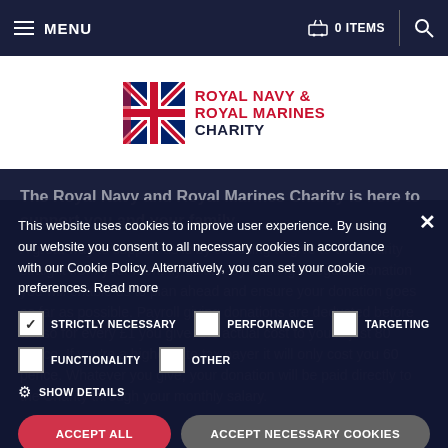MENU | 0 ITEMS | Search
[Figure (logo): Royal Navy & Royal Marines Charity logo with Union Jack flag graphic]
The Royal Navy and Royal Marines Charity is here to support you and your family. A great way to support us is by choosing to give to the Charity straight from your monthly salary. By making a regular donation you will enable us to plan ahead and ensure your donation goes as far as possible. Payroll giving donations are deducted before tax so for every £1 you give, the actual cost to you is just 80 pence. If you're a higher rate tax payer it will only cost you 60 pence. Whatever you give, your donation will be paid directly to the Charity through your monthly salary.
This website uses cookies to improve user experience. By using our website you consent to all necessary cookies in accordance with our Cookie Policy. Alternatively, you can set your cookie preferences. Read more
STRICTLY NECESSARY (checked), PERFORMANCE (unchecked), TARGETING (unchecked)
FUNCTIONALITY (unchecked), OTHER (unchecked)
SHOW DETAILS
ACCEPT ALL | ACCEPT NECESSARY COOKIES